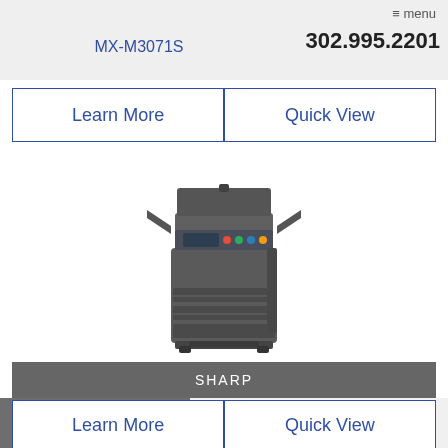≡ menu  MX-M3071S  302.995.2201
| Learn More | Quick View |
| --- | --- |
[Figure (photo): Photo of a Sharp MX-M3071S multifunction printer/copier, dark grey, with paper trays and document feeder]
SHARP
BACK TO TOP ⊙
BP-50C31
| Learn More | Quick View |
| --- | --- |